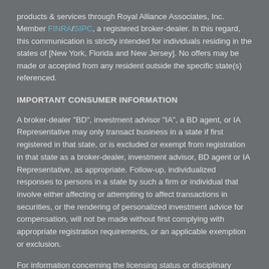products & services through Royal Alliance Associates, Inc. Member FINRA/SIPC, a registered broker-dealer. In this regard, this communication is strictly intended for individuals residing in the states of [New York, Florida and New Jersey]. No offers may be made or accepted from any resident outside the specific state(s) referenced.
IMPORTANT CONSUMER INFORMATION
A broker-dealer "BD", investment advisor "IA", a BD agent, or IA Representative may only transact business in a state if first registered in that state, or is excluded or exempt from registration in that state as a broker-dealer, investment advisor, BD agent or IA Representative, as appropriate. Follow-up, individualized responses to persons in a state by such a firm or individual that involve either affecting or attempting to affect transactions in securities, or the rendering of personalized investment advice for compensation, will not be made without first complying with appropriate registration requirements, or an applicable exemption or exclusion.
For information concerning the licensing status or disciplinary history of